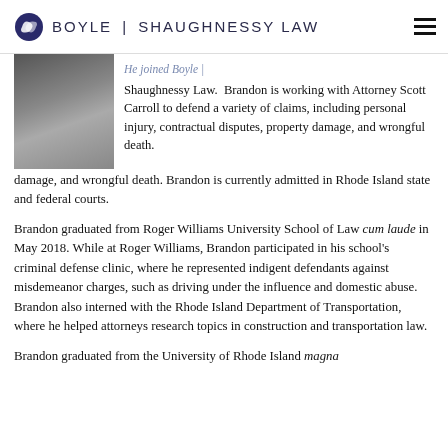BOYLE | SHAUGHNESSY LAW
[Figure (photo): Headshot photo of a young man in a dark suit and striped tie]
Shaughnessy Law. Brandon is working with Attorney Scott Carroll to defend a variety of claims, including personal injury, contractual disputes, property damage, and wrongful death. Brandon is currently admitted in Rhode Island state and federal courts.
Brandon graduated from Roger Williams University School of Law cum laude in May 2018. While at Roger Williams, Brandon participated in his school's criminal defense clinic, where he represented indigent defendants against misdemeanor charges, such as driving under the influence and domestic abuse. Brandon also interned with the Rhode Island Department of Transportation, where he helped attorneys research topics in construction and transportation law.
Brandon graduated from the University of Rhode Island magna cum laude in May 2014. Brandon was listed on the dean's...